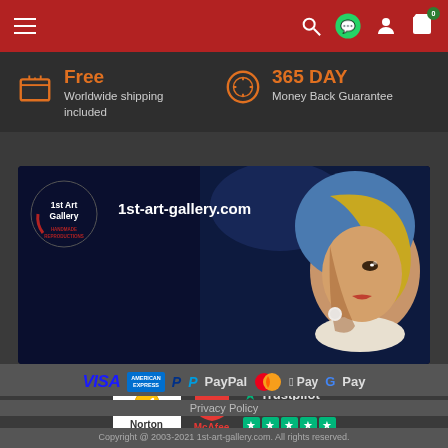Navigation bar with hamburger menu, search, WhatsApp, user, and cart (0) icons
Free - Worldwide shipping included
365 DAY - Money Back Guarantee
[Figure (illustration): 1st Art Gallery banner showing logo and painting of Girl with a Pearl Earring with text '1st-art-gallery.com']
[Figure (logo): Trust badges: Norton, McAfee, Trustpilot 'Excellent' with 5 green stars]
[Figure (logo): Payment methods: VISA, American Express, PayPal, Mastercard, Apple Pay, G Pay]
Privacy Policy
Copyright @ 2003-2021 1st-art-gallery.com. All rights reserved.